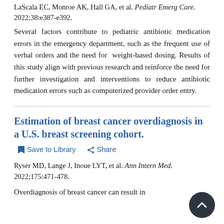LaScala EC, Monroe AK, Hall GA, et al. Pediatr Emerg Care. 2022;38:e387-e392.
Several factors contribute to pediatric antibiotic medication errors in the emergency department, such as the frequent use of verbal orders and the need for weight-based dosing. Results of this study align with previous research and reinforce the need for further investigation and interventions to reduce antibiotic medication errors such as computerized provider order entry.
Estimation of breast cancer overdiagnosis in a U.S. breast screening cohort.
Save to Library   Share
Ryser MD, Lange J, Inoue LYT, et al. Ann Intern Med. 2022;175:471-478.
Overdiagnosis of breast cancer can result in